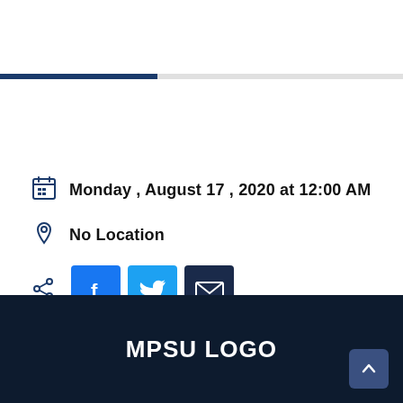[Figure (infographic): Horizontal progress bar with dark navy blue fill on left (~40%) and light gray remainder]
Monday , August 17 , 2020 at 12:00 AM
No Location
[Figure (infographic): Share icons row: share symbol, Facebook button (blue), Twitter button (light blue), Email/Gmail button (dark navy)]
[Figure (logo): MPSU LOGO text in white on dark navy footer background, with back-to-top arrow button on right]